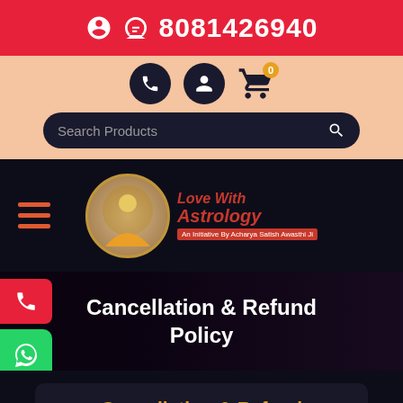🎧 8081426940
[Figure (screenshot): Navigation icons: phone, user, and shopping cart with badge showing 0]
[Figure (screenshot): Search bar with text 'Search Products' and magnifier icon]
[Figure (logo): Love With Astrology logo — circular portrait photo with text 'Love With Astrology — An Initiative By Acharya Satish Awasthi Ji']
Cancellation & Refund Policy
Cancellation & Refund